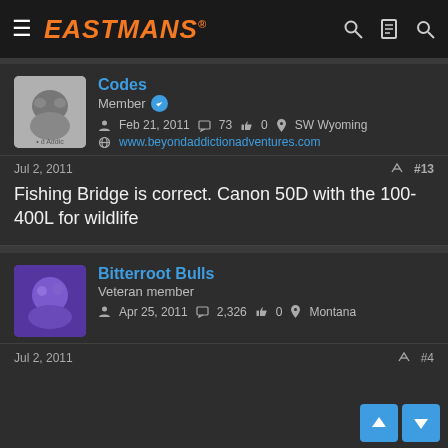EASTMANS
[Figure (photo): Avatar image for user Codes, small circular/rounded profile picture with illustration of animals]
Codes
Member
Feb 21, 2011  73  0  SW Wyoming
www.beyondaddictionadventures.com
Jul 2, 2011  #13
Fishing Bridge is correct. Canon 50D with the 100-400L for wildlife
[Figure (photo): Avatar image for user Bitterroot Bulls, purple/blue circular profile picture]
Bitterroot Bulls
Veteran member
Apr 25, 2011  2,326  0  Montana
Jul 2, 2011